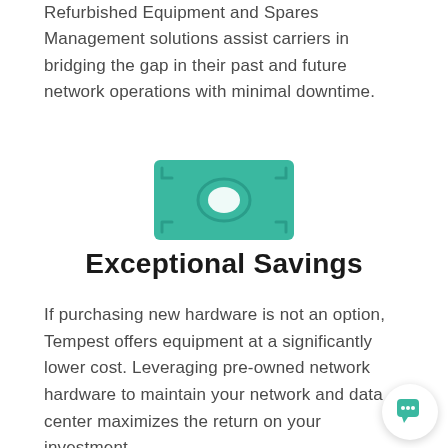Refurbished Equipment and Spares Management solutions assist carriers in bridging the gap in their past and future network operations with minimal downtime.
[Figure (illustration): Teal/green money bill icon with oval shape in center and corner marks]
Exceptional Savings
If purchasing new hardware is not an option, Tempest offers equipment at a significantly lower cost. Leveraging pre-owned network hardware to maintain your network and data center maximizes the return on your investment.